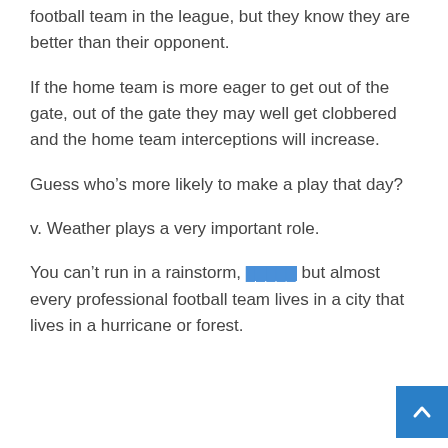football team in the league, but they know they are better than their opponent.
If the home team is more eager to get out of the gate, out of the gate they may well get clobbered and the home team interceptions will increase.
Guess who’s more likely to make a play that day?
v. Weather plays a very important role.
You can’t run in a rainstorm, █████ but almost every professional football team lives in a city that lives in a hurricane or forest.